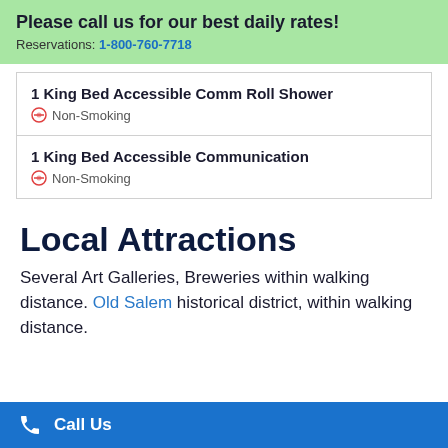Please call us for our best daily rates! Reservations: 1-800-760-7718
1 King Bed Accessible Comm Roll Shower
Non-Smoking
1 King Bed Accessible Communication
Non-Smoking
Local Attractions
Several Art Galleries, Breweries within walking distance. Old Salem historical district, within walking distance.
Call Us